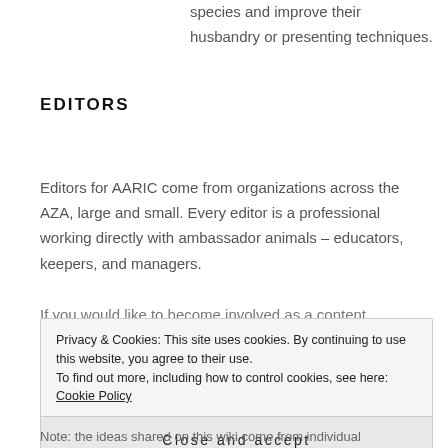species and improve their husbandry or presenting techniques.
EDITORS
Editors for AARIC come from organizations across the AZA, large and small. Every editor is a professional working directly with ambassador animals – educators, keepers, and managers.
If you would like to become involved as a content
Privacy & Cookies: This site uses cookies. By continuing to use this website, you agree to their use.
To find out more, including how to control cookies, see here: Cookie Policy
Close and accept
Note: the ideas shared on this wiki come from individual